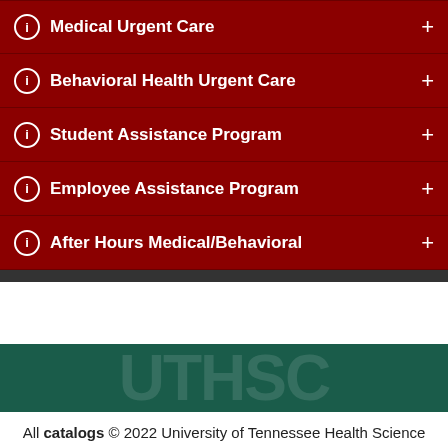Medical Urgent Care
Behavioral Health Urgent Care
Student Assistance Program
Employee Assistance Program
After Hours Medical/Behavioral
[Figure (logo): UTHSC watermark logo in teal banner background]
All catalogs © 2022 University of Tennessee Health Science Center.
Powered by the Acalog™ Academic Catalog Management
SECTION MENU | UTHSC MENU
[Figure (logo): UTHSC watermark logo in teal banner bottom]